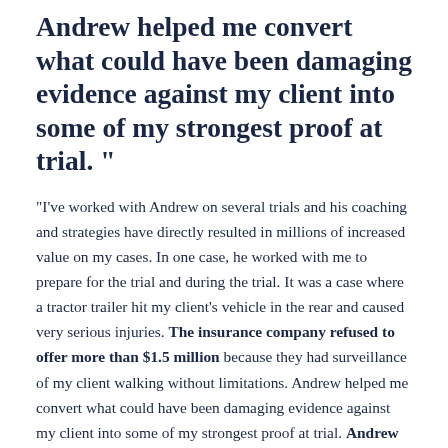Andrew helped me convert what could have been damaging evidence against my client into some of my strongest proof at trial.”
“I’ve worked with Andrew on several trials and his coaching and strategies have directly resulted in millions of increased value on my cases. In one case, he worked with me to prepare for the trial and during the trial. It was a case where a tractor trailer hit my client’s vehicle in the rear and caused very serious injuries. The insurance company refused to offer more than $1.5 million because they had surveillance of my client walking without limitations. Andrew helped me convert what could have been damaging evidence against my client into some of my strongest proof at trial. Andrew helped me frame some of the surveillance in a way that